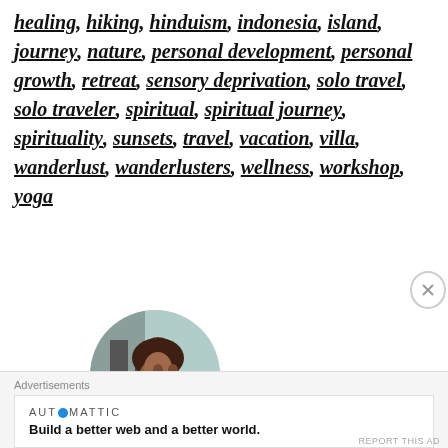healing, hiking, hinduism, indonesia, island, journey, nature, personal development, personal growth, retreat, sensory deprivation, solo travel, solo traveler, spiritual, spiritual journey, spirituality, sunsets, travel, vacation, villa, wanderlust, wanderlusters, wellness, workshop, yoga
[Figure (photo): Circular profile photo of a woman wearing a teal/turquoise outfit, sitting at a table with her chin resting on her hand, with a blurred background]
Advertisements
AUTOMATTIC
Build a better web and a better world.